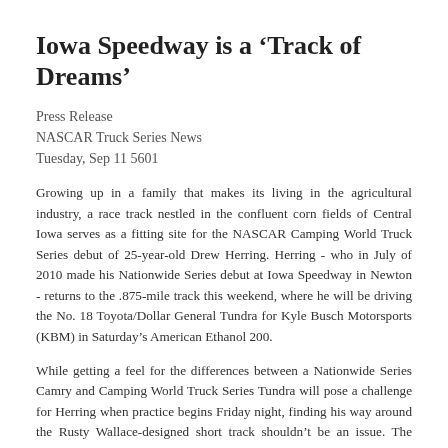Iowa Speedway is a ‘Track of Dreams’
Press Release
NASCAR Truck Series News
Tuesday, Sep 11 5601
Growing up in a family that makes its living in the agricultural industry, a race track nestled in the confluent corn fields of Central Iowa serves as a fitting site for the NASCAR Camping World Truck Series debut of 25-year-old Drew Herring. Herring - who in July of 2010 made his Nationwide Series debut at Iowa Speedway in Newton - returns to the .875-mile track this weekend, where he will be driving the No. 18 Toyota/Dollar General Tundra for Kyle Busch Motorsports (KBM) in Saturday’s American Ethanol 200.
While getting a feel for the differences between a Nationwide Series Camry and Camping World Truck Series Tundra will pose a challenge for Herring when practice begins Friday night, finding his way around the Rusty Wallace-designed short track shouldn’t be an issue. The North Carolina native has finished in the top 15 in each of